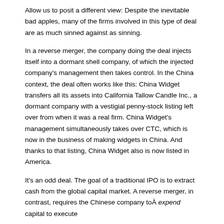Allow us to posit a different view: Despite the inevitable bad apples, many of the firms involved in this type of deal are as much sinned against as sinning.
In a reverse merger, the company doing the deal injects itself into a dormant shell company, of which the injected company's management then takes control. In the China context, the deal often works like this: China Widget transfers all its assets into California Tallow Candle Inc., a dormant company with a vestigial penny-stock listing left over from when it was a real firm. China Widget's management simultaneously takes over CTC, which is now in the business of making widgets in China. And thanks to that listing, China Widget also is now listed in America.
It's an odd deal. The goal of a traditional IPO is to extract cash from the global capital market. A reverse merger, in contrast, requires the Chinese company toÂ expend capital to execute